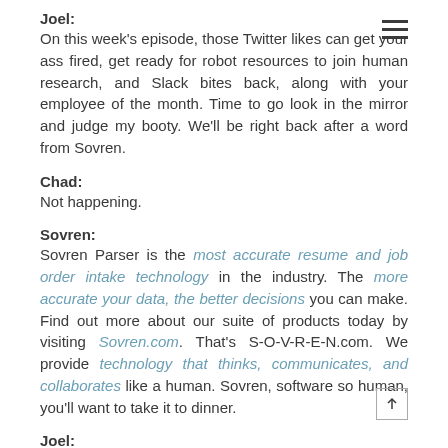Joel:
On this week's episode, those Twitter likes can get your ass fired, get ready for robot resources to join human research, and Slack bites back, along with your employee of the month. Time to go look in the mirror and judge my booty. We'll be right back after a word from Sovren.
Chad:
Not happening.
Sovren:
Sovren Parser is the most accurate resume and job order intake technology in the industry. The more accurate your data, the better decisions you can make. Find out more about our suite of products today by visiting Sovren.com. That's S-O-V-R-E-N.com. We provide technology that thinks, communicates, and collaborates like a human. Sovren, software so human, you'll want to take it to dinner.
Joel: